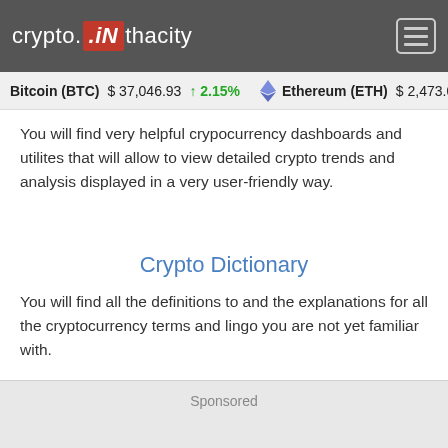crypto.iN thacity
Bitcoin (BTC)  $ 37,046.93  ↑2.15%  Ethereum (ETH)  $ 2,473.0
You will find very helpful crypocurrency dashboards and utilites that will allow to view detailed crypto trends and analysis displayed in a very user-friendly way.
Crypto Dictionary
You will find all the definitions to and the explanations for all the cryptocurrency terms and lingo you are not yet familiar with.
Sponsored